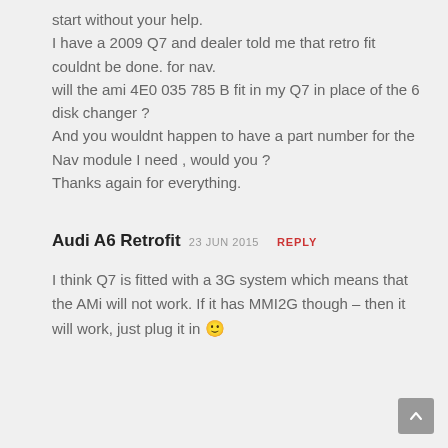start without your help.
I have a 2009 Q7 and dealer told me that retro fit couldnt be done. for nav.
will the ami 4E0 035 785 B fit in my Q7 in place of the 6 disk changer ?
And you wouldnt happen to have a part number for the Nav module I need , would you ?
Thanks again for everything.
Audi A6 Retrofit  23 JUN 2015  REPLY
I think Q7 is fitted with a 3G system which means that the AMi will not work. If it has MMI2G though – then it will work, just plug it in 🙂